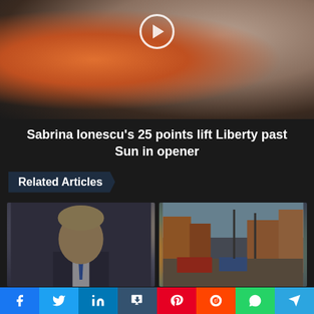[Figure (photo): WNBA basketball players in action, player in black New York Liberty jersey with orange-clad defender, play button overlay]
Sabrina Ionescu's 25 points lift Liberty past Sun in opener
Related Articles
[Figure (photo): Prime Minister Boris Johnson in dark suit with blue tie, walking outdoors]
Prime Minister Boris Johnson agrees to step down after
[Figure (photo): Street scene with emergency vehicles, building fire aftermath, police and fire responders visible]
Building owner Al-Ashraf Khalil charged in blaze that